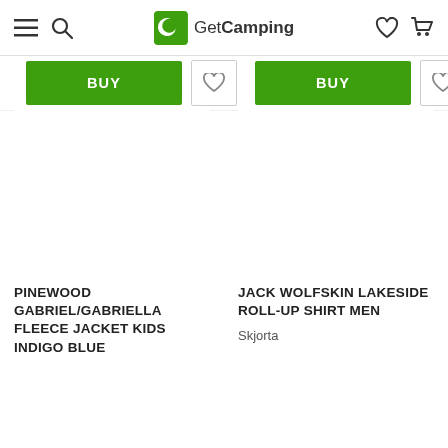GetCamping
[Figure (screenshot): BUY button and heart/wishlist button for left product]
[Figure (screenshot): BUY button and heart/wishlist button for right product]
PINEWOOD GABRIEL/GABRIELLA FLEECE JACKET KIDS INDIGO BLUE
JACK WOLFSKIN LAKESIDE ROLL-UP SHIRT MEN
Skjorta